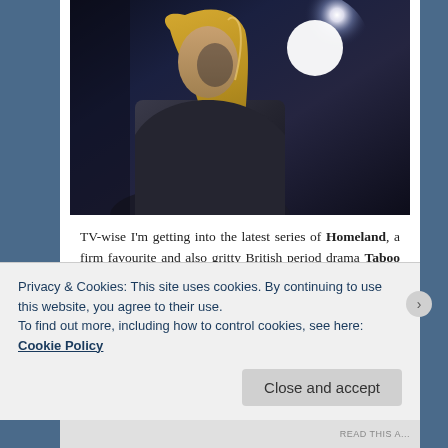[Figure (photo): Dark cinematic photo of a blonde woman looking upward, with a bright light source (glowing orb) visible behind her against a dark background]
TV-wise I'm getting into the latest series of Homeland, a firm favourite and also gritty British period drama Taboo starring Tom Hardy, which will do me nicely in the run up to The Walking Dead and eventually the return of Game of
Privacy & Cookies: This site uses cookies. By continuing to use this website, you agree to their use.
To find out more, including how to control cookies, see here: Cookie Policy